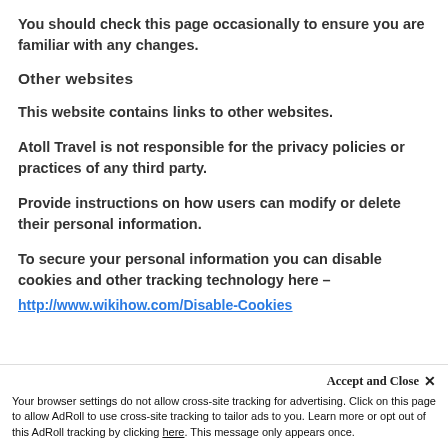You should check this page occasionally to ensure you are familiar with any changes.
Other websites
This website contains links to other websites.
Atoll Travel is not responsible for the privacy policies or practices of any third party.
Provide instructions on how users can modify or delete their personal information.
To secure your personal information you can disable cookies and other tracking technology here –
http://www.wikihow.com/Disable-Cookies
Accept and Close ✕
Your browser settings do not allow cross-site tracking for advertising. Click on this page to allow AdRoll to use cross-site tracking to tailor ads to you. Learn more or opt out of this AdRoll tracking by clicking here. This message only appears once.